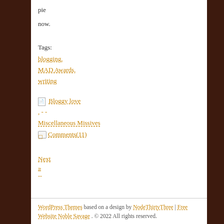pie
now.
Tags:
blogging,
MAD Awards,
writing
📄 Bloggy love
, Miscellaneous Missives
💬 Comments(11)
Next
»
WordPress Themes based on a design by NodeThirtyThree | Free Website Noble Savage. © 2022 All rights reserved.